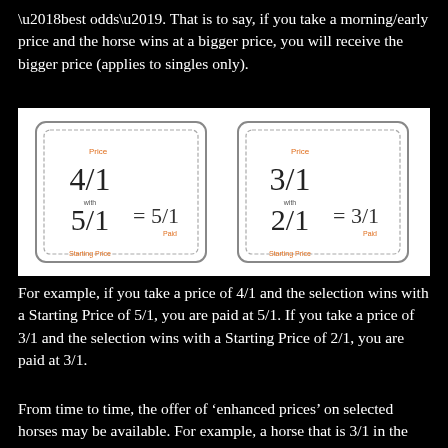'best odds'. That is to say, if you take a morning/early price and the horse wins at a bigger price, you will receive the bigger price (applies to singles only).
[Figure (infographic): Two side-by-side ticket/card diagrams. Left card: Price 4/1, with 5/1 (Starting Price), = 5/1 (Paid). Right card: Price 3/1, with 2/1 (Starting Price), = 3/1 (Paid).]
For example, if you take a price of 4/1 and the selection wins with a Starting Price of 5/1, you are paid at 5/1. If you take a price of 3/1 and the selection wins with a Starting Price of 2/1, you are paid at 3/1.
From time to time, the offer of ‘enhanced prices’ on selected horses may be available. For example, a horse that is 3/1 in the market might be enhanced to